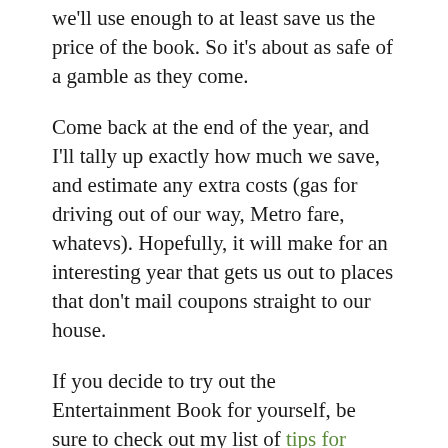we'll use enough to at least save us the price of the book. So it's about as safe of a gamble as they come.
Come back at the end of the year, and I'll tally up exactly how much we save, and estimate any extra costs (gas for driving out of our way, Metro fare, whatevs). Hopefully, it will make for an interesting year that gets us out to places that don't mail coupons straight to our house.
If you decide to try out the Entertainment Book for yourself, be sure to check out my list of tips for getting the most out of your Entertainment Book.